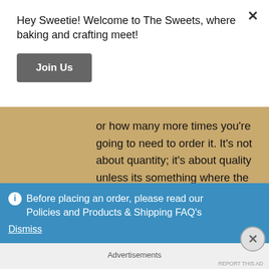Hey Sweetie! Welcome to The Sweets, where baking and crafting meet!
Join Us
or how many more times you're going to need to order it. It's not about quantity; it's about quality unless its something where the quality doesn't matter. I'm not saying go out and buy the most expensive artificial flower or powdered sugar off the
Before placing an order, please read our Policies and Products & Shipping FAQ's
Dismiss
Advertisements